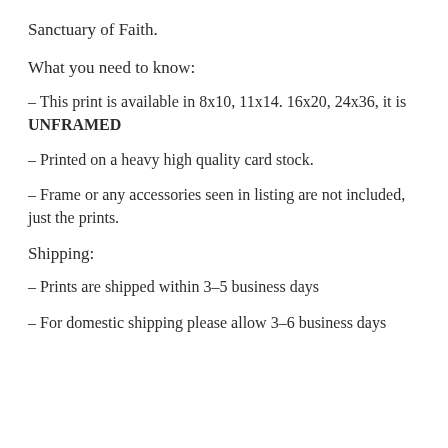Sanctuary of Faith.
What you need to know:
- This print is available in 8x10, 11x14. 16x20, 24x36, it is UNFRAMED
- Printed on a heavy high quality card stock.
- Frame or any accessories seen in listing are not included, just the prints.
Shipping:
- Prints are shipped within 3-5 business days
- For domestic shipping please allow 3-6 business days